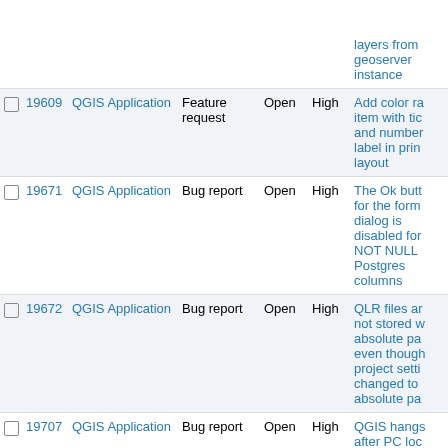|  | # | Project | Tracker | Status | Priority | Subject |
| --- | --- | --- | --- | --- | --- | --- |
|  |  |  |  |  |  | layers from geoserver instance |
|  | 19609 | QGIS Application | Feature request | Open | High | Add color ra item with tic and number label in prin layout |
|  | 19671 | QGIS Application | Bug report | Open | High | The Ok butt for the form dialog is disabled for NOT NULL Postgres columns |
|  | 19672 | QGIS Application | Bug report | Open | High | QLR files ar not stored w absolute pa even though project setti changed to absolute pa |
|  | 19707 | QGIS Application | Bug report | Open | High | QGIS hangs after PC loc screen after timeout |
|  | 19793 | QGIS Application | Bug report | Open | High | MSSQL: Po initial QGIS 3.2.2 startin performance when getting data from a SQL Server |